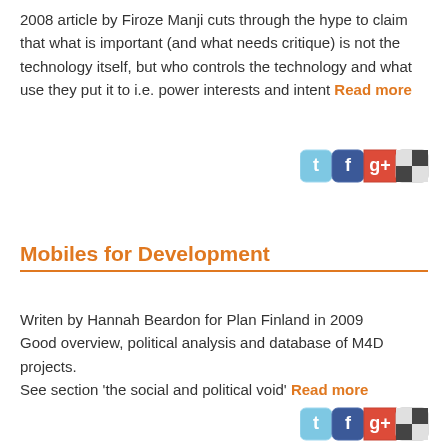2008 article by Firoze Manji cuts through the hype to claim that what is important (and what needs critique) is not the technology itself, but who controls the technology and what use they put it to i.e. power interests and intent Read more
[Figure (other): Social sharing icons: Twitter, Facebook, Google+, and another service]
Mobiles for Development
Writen by Hannah Beardon for Plan Finland in 2009 Good overview, political analysis and database of M4D projects. See section 'the social and political void' Read more
[Figure (other): Social sharing icons: Twitter, Facebook, Google+, and another service]